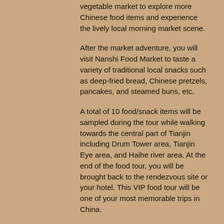vegetable market to explore more Chinese food items and experience the lively local morning market scene.
After the market adventure, you will visit Nanshi Food Market to taste a variety of traditional local snacks such as deep-fried bread, Chinese pretzels, pancakes, and steamed buns, etc.
A total of 10 food/snack items will be sampled during the tour while walking towards the central part of Tianjin including Drum Tower area, Tianjin Eye area, and Haihe river area. At the end of the food tour, you will be brought back to the rendezvous site or your hotel. This VIP food tour will be one of your most memorable trips in China.
NOTE:
For visitors coming from the Tianjin Cruise Port add 3 hours of commute time to and from the Ancient Cultural Street. Tour timing may be modified, contact